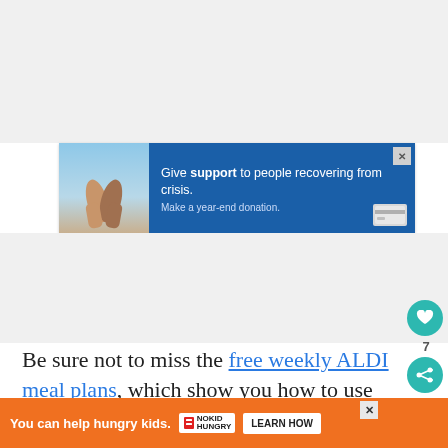[Figure (screenshot): Advertisement banner with image of two people holding hands on left (sky background) and blue panel on right reading 'Give support to people recovering from crisis. Make a year-end donation.' with credit card icon.]
Be sure not to miss the free weekly ALDI meal plans, which show you how to use these easy fa... re...
[Figure (screenshot): Orange advertisement banner reading 'You can help hungry kids.' with No Kid Hungry logo and 'LEARN HOW' button.]